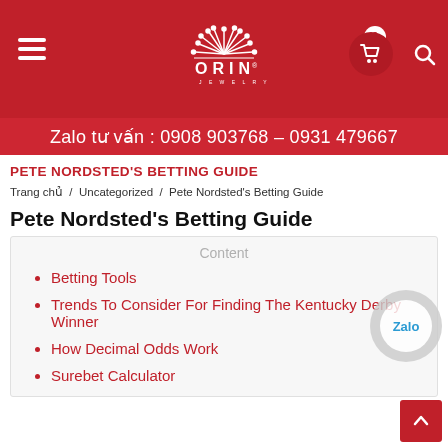[Figure (screenshot): Red header bar with ORIN logo (decorative plant/firework design), hamburger menu icon on left, shopping cart with badge showing 0, and search icon on right]
Zalo tư vấn : 0908 903768 – 0931 479667
PETE NORDSTED'S BETTING GUIDE
Trang chủ / Uncategorized / Pete Nordsted's Betting Guide
Pete Nordsted's Betting Guide
Content
Betting Tools
Trends To Consider For Finding The Kentucky Derby Winner
How Decimal Odds Work
Surebet Calculator